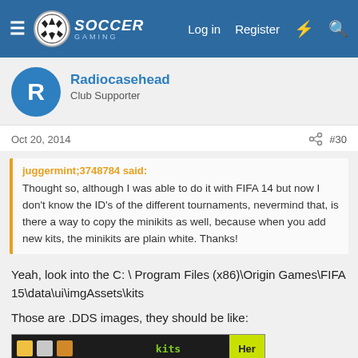Soccer Gaming — Log in | Register
Radiocasehead
Club Supporter
Oct 20, 2014  #30
juggermint;3748784 said:
Thought so, although I was able to do it with FIFA 14 but now I don't know the ID's of the different tournaments, nevermind that, is there a way to copy the minikits as well, because when you add new kits, the minikits are plain white. Thanks!
Yeah, look into the C: \ Program Files (x86)\Origin Games\FIFA 15\data\ui\imgAssets\kits
Those are .DDS images, they should be like:
[Figure (screenshot): Windows Explorer screenshot showing a folder named 'kits', with toolbar showing Archivo, Inicio, Compartir, Vista tabs]